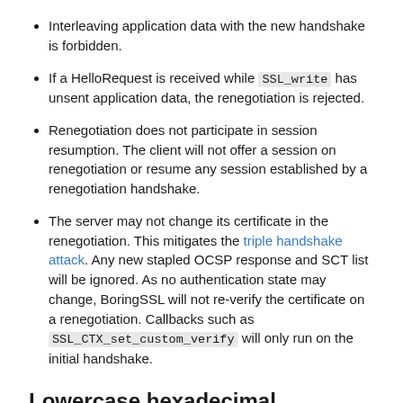Interleaving application data with the new handshake is forbidden.
If a HelloRequest is received while SSL_write has unsent application data, the renegotiation is rejected.
Renegotiation does not participate in session resumption. The client will not offer a session on renegotiation or resume any session established by a renegotiation handshake.
The server may not change its certificate in the renegotiation. This mitigates the triple handshake attack. Any new stapled OCSP response and SCT list will be ignored. As no authentication state may change, BoringSSL will not re-verify the certificate on a renegotiation. Callbacks such as SSL_CTX_set_custom_verify will only run on the initial handshake.
Lowercase hexadecimal
...